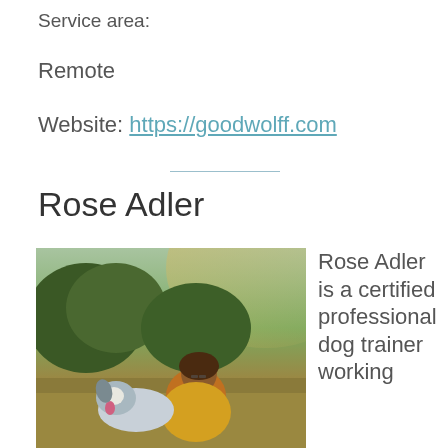Service area:
Remote
Website: https://goodwolff.com
Rose Adler
[Figure (photo): A woman with brown hair wearing a yellow sweater sits outdoors with an Australian Shepherd dog. They are in a field with trees in the background during golden hour lighting.]
Rose Adler is a certified professional dog trainer working